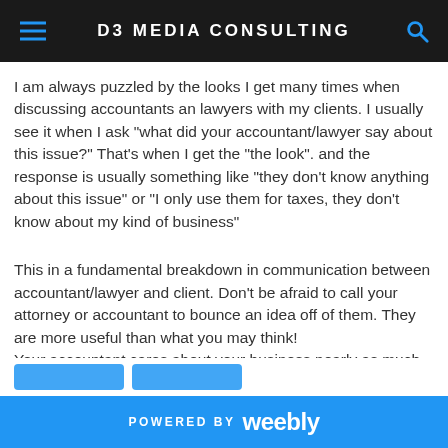D3 MEDIA CONSULTING
I am always puzzled by the looks I get many times when discussing accountants an lawyers with my clients. I usually see it when I ask "what did your accountant/lawyer say about this issue?"  That's when I get the "the look". and the response is usually something like "they don't know anything about this issue" or "I only use them for taxes, they don't know about my kind of business"
This in a fundamental breakdown in communication between accountant/lawyer and client. Don't be afraid to call your attorney or accountant to bounce an idea off of them. They are more useful than what you may think!
Your accountant cares about your business nearly as much as you do, don't overlook this hugely valuable asset you already have in your back pocket. Your success is their success!
Read More
POWERED BY weebly